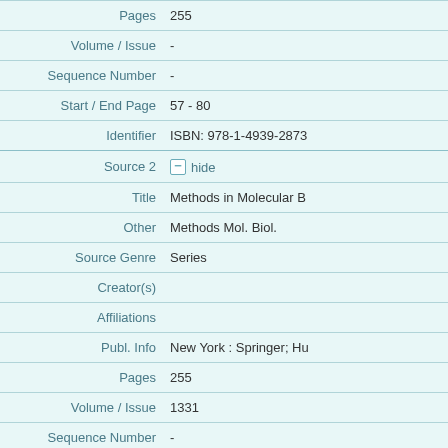| Field | Value |
| --- | --- |
| Pages | 255 |
| Volume / Issue | - |
| Sequence Number | - |
| Start / End Page | 57 - 80 |
| Identifier | ISBN: 978-1-4939-2873... |
| Source 2 | hide |
| Title | Methods in Molecular B... |
| Other | Methods Mol. Biol. |
| Source Genre | Series |
| Creator(s) |  |
| Affiliations |  |
| Publ. Info | New York : Springer; Hu... |
| Pages | 255 |
| Volume / Issue | 1331 |
| Sequence Number | - |
| Start / End Page | 57 - 80 |
| Identifier | ISSN: 1064-3745 |